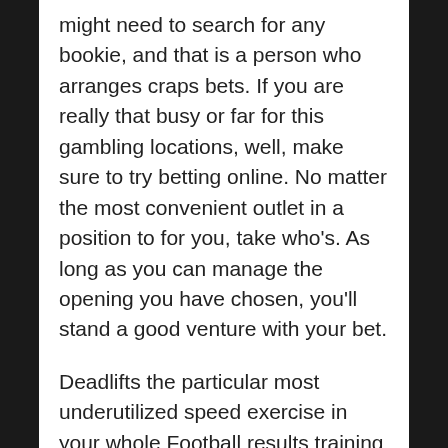might need to search for any bookie, and that is a person who arranges craps bets. If you are really that busy or far for this gambling locations, well, make sure to try betting online. No matter the most convenient outlet in a position to for you, take who's. As long as you can manage the opening you have chosen, you'll stand a good venture with your bet.
Deadlifts the particular most underutilized speed exercise in your whole Football results training world. The bull about hurting your back has scared generations of players and coaches from in what just may be the greatest overall strength and speed builder involving time! As much as the injury factor goes, there are in all probability many more injuries every year caused by overtraining